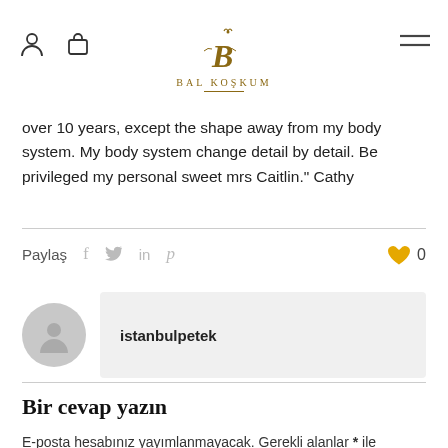BAL KOŞKUM
over 10 years, except the shape away from my body system. My body system change detail by detail. Be privileged my personal sweet mrs Caitlin." Cathy
Paylaş
istanbulpetek
Bir cevap yazın
E-posta hesabınız yayımlanmayacak. Gerekli alanlar * ile işaretlenmişlerdir